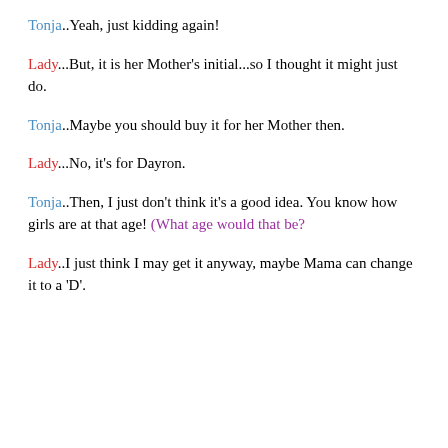Tonja..Yeah, just kidding again!
Lady...But, it is her Mother's initial...so I thought it might just do.
Tonja..Maybe you should buy it for her Mother then.
Lady...No, it's for Dayron.
Tonja..Then, I just don't think it's a good idea. You know how girls are at that age! (What age would that be?
Lady..I just think I may get it anyway, maybe Mama can change it to a 'D'.